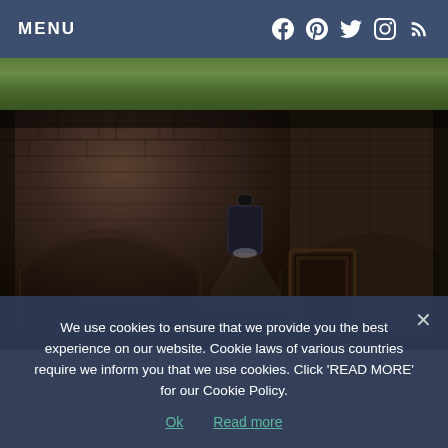MENU
[Figure (photo): Partial view of a green grassy outdoor area, cropped as a strip at the top]
[Figure (photo): Interior of a historic brick vaulted cellar or fort room with arched brick ceilings, hanging Edison bulb pendant lights, and a wooden door visible in the background]
We use cookies to ensure that we provide you the best experience on our website. Cookie laws of various countries require we inform you that we use cookies. Click ‘READ MORE’ for our Cookie Policy.
Ok   Read more